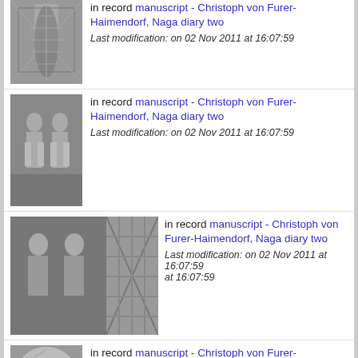in record manuscript - Christoph von Furer-Haimendorf, Naga diary two
Last modification: on 02 Nov 2011 at 16:07:59
in record manuscript - Christoph von Furer-Haimendorf, Naga diary two
Last modification: on 02 Nov 2011 at 16:07:59
in record manuscript - Christoph von Furer-Haimendorf, Naga diary two
Last modification: on 02 Nov 2011 at 16:07:59
in record manuscript - Christoph von Furer-Haimendorf, Naga diary two
Last modification: on 02 Nov 2011 at 16:07:59